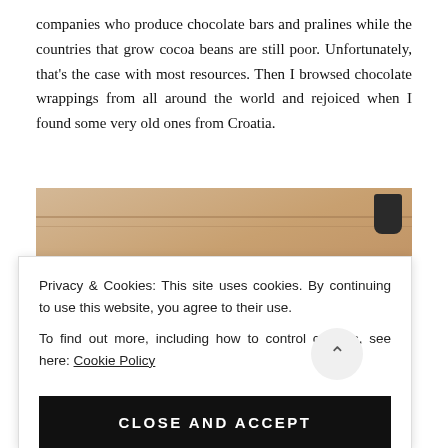companies who produce chocolate bars and pralines while the countries that grow cocoa beans are still poor. Unfortunately, that's the case with most resources. Then I browsed chocolate wrappings from all around the world and rejoiced when I found some very old ones from Croatia.
[Figure (photo): Photo of a wooden surface or shelf with the word 'Story' in italic script text visible, with a dark decorative element in the upper right corner]
Privacy & Cookies: This site uses cookies. By continuing to use this website, you agree to their use.
To find out more, including how to control cookies, see here: Cookie Policy
CLOSE AND ACCEPT